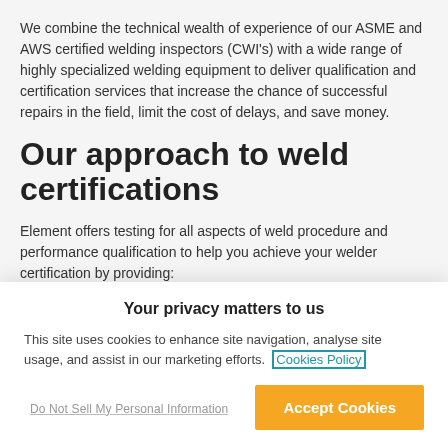We combine the technical wealth of experience of our ASME and AWS certified welding inspectors (CWI's) with a wide range of highly specialized welding equipment to deliver qualification and certification services that increase the chance of successful repairs in the field, limit the cost of delays, and save money.
Our approach to weld certifications
Element offers testing for all aspects of weld procedure and performance qualification to help you achieve your welder certification by providing:
Your privacy matters to us
This site uses cookies to enhance site navigation, analyse site usage, and assist in our marketing efforts. Cookies Policy
Do Not Sell My Personal Information
Accept Cookies